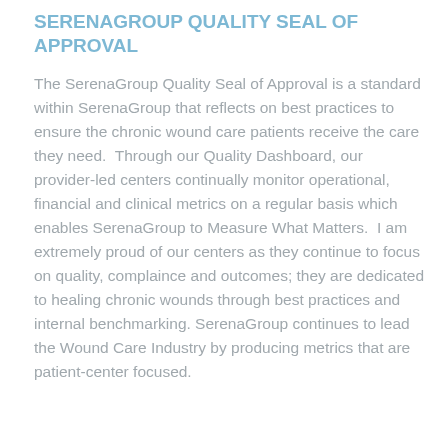SERENAGROUP QUALITY SEAL OF APPROVAL
The SerenaGroup Quality Seal of Approval is a standard within SerenaGroup that reflects on best practices to ensure the chronic wound care patients receive the care they need.  Through our Quality Dashboard, our provider-led centers continually monitor operational, financial and clinical metrics on a regular basis which enables SerenaGroup to Measure What Matters.  I am extremely proud of our centers as they continue to focus on quality, complaince and outcomes; they are dedicated to healing chronic wounds through best practices and internal benchmarking. SerenaGroup continues to lead the Wound Care Industry by producing metrics that are patient-center focused.